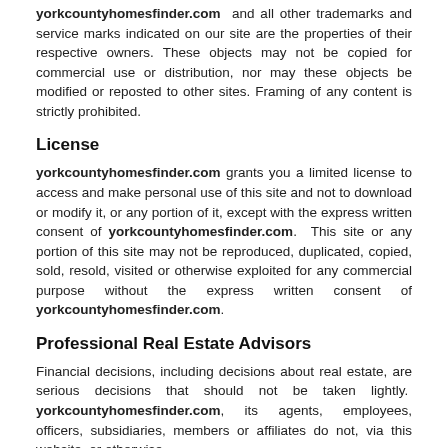yorkcountyhomesfinder.com and all other trademarks and service marks indicated on our site are the properties of their respective owners. These objects may not be copied for commercial use or distribution, nor may these objects be modified or reposted to other sites. Framing of any content is strictly prohibited.
License
yorkcountyhomesfinder.com grants you a limited license to access and make personal use of this site and not to download or modify it, or any portion of it, except with the express written consent of yorkcountyhomesfinder.com. This site or any portion of this site may not be reproduced, duplicated, copied, sold, resold, visited or otherwise exploited for any commercial purpose without the express written consent of yorkcountyhomesfinder.com.
Professional Real Estate Advisors
Financial decisions, including decisions about real estate, are serious decisions that should not be taken lightly. yorkcountyhomesfinder.com, its agents, employees, officers, subsidiaries, members or affiliates do not, via this website, or otherwise...